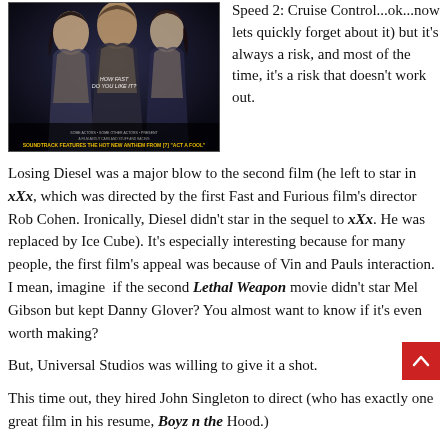[Figure (photo): Movie poster for Fast and Furious sequel showing two people in a dark blue/black tone with text overlay]
Speed 2: Cruise Control...ok...now lets quickly forget about it) but it's always a risk, and most of the time, it's a risk that doesn't work out.
Losing Diesel was a major blow to the second film (he left to star in xXx, which was directed by the first Fast and Furious film's director Rob Cohen. Ironically, Diesel didn't star in the sequel to xXx. He was replaced by Ice Cube). It's especially interesting because for many people, the first film's appeal was because of Vin and Pauls interaction. I mean, imagine  if the second Lethal Weapon movie didn't star Mel Gibson but kept Danny Glover? You almost want to know if it's even worth making?
But, Universal Studios was willing to give it a shot.
This time out, they hired John Singleton to direct (who has exactly one great film in his resume, Boyz n the Hood.)